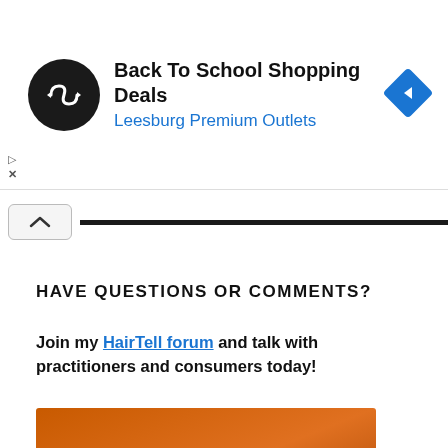[Figure (infographic): Ad banner: black circle logo with infinity/arrow symbol, text 'Back To School Shopping Deals' and 'Leesburg Premium Outlets' in blue, blue diamond navigation icon on right]
HAVE QUESTIONS OR COMMENTS?
Join my HairTell forum and talk with practitioners and consumers today!
[Figure (logo): HairTell Hair Removal Forum logo on orange-brown gradient background. HAIR in thin letters, TELL in bold white, 'HAIR REMOVAL FORUM' below.]